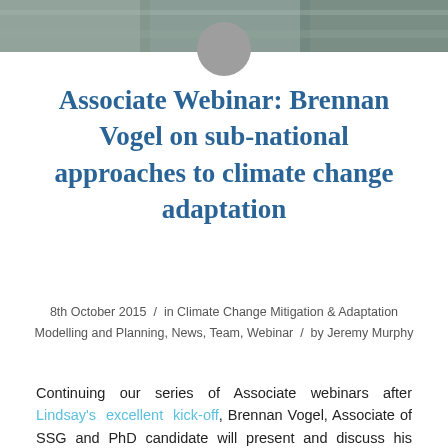[Figure (photo): Top banner photo strip of people/group scene, partially cropped at the top of the page]
[Figure (photo): Circular gray avatar/profile image circle overlapping the banner photo]
Associate Webinar: Brennan Vogel on sub-national approaches to climate change adaptation
8th October 2015 / in Climate Change Mitigation & Adaptation Modelling and Planning, News, Team, Webinar / by Jeremy Murphy
Continuing our series of Associate webinars after Lindsay's excellent kick-off, Brennan Vogel, Associate of SSG and PhD candidate will present and discuss his research focused on sub-national approaches to climate change adaptation in